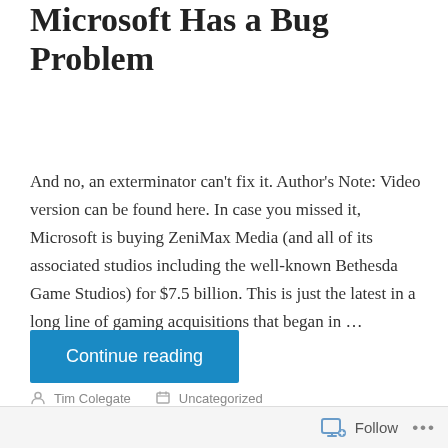Microsoft Has a Bug Problem
And no, an exterminator can't fix it. Author's Note: Video version can be found here. In case you missed it, Microsoft is buying ZeniMax Media (and all of its associated studios including the well-known Bethesda Game Studios) for $7.5 billion. This is just the latest in a long line of gaming acquisitions that began in …
Continue reading
Tim Colegate   Uncategorized   Leave a comment   October 29, 2020
Follow ...